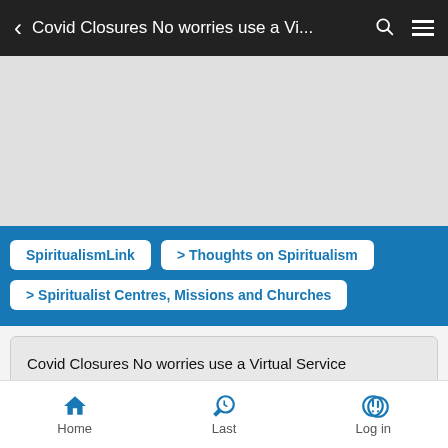Covid Closures No worries use a Vi...
[Figure (other): Grey banner/advertisement area]
SpiritualismLink
> Thoughts on Spiritualism
> Spiritualist Centres, Missions and Churches
Covid Closures No worries use a Virtual Service
Home  Last  Log in